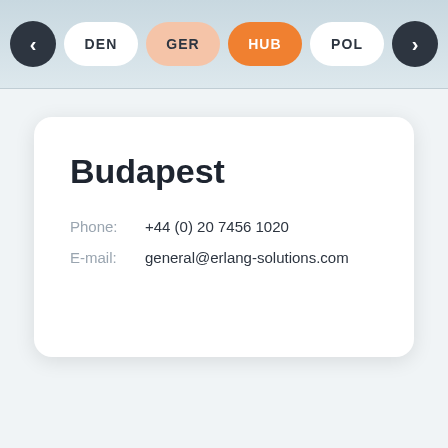< DEN | GER | HUB | POL >
Budapest
Phone: +44 (0) 20 7456 1020
E-mail: general@erlang-solutions.com